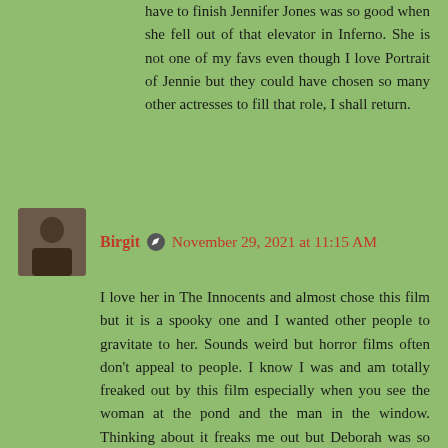have to finish Jennifer Jones was so good when she fell out of that elevator in Inferno. She is not one of my favs even though I love Portrait of Jennie but they could have chosen so many other actresses to fill that role, I shall return.
Birgit ✏ November 29, 2021 at 11:15 AM
I love her in The Innocents and almost chose this film but it is a spooky one and I wanted other people to gravitate to her. Sounds weird but horror films often don't appeal to people. I know I was and am totally freaked out by this film especially when you see the woman at the pond and the man in the window. Thinking about it freaks me out but Deborah was so excellent in this role. I also love her in Black Narcissus but I spoke about that film before..more than once so I wanted to choose another fav of mine. You are so lucky to have seem all of her films. She was mousy and bullied by her mom in Separate Tables so of course she will get the nom for that. I am so happy you commented here and on each post. I